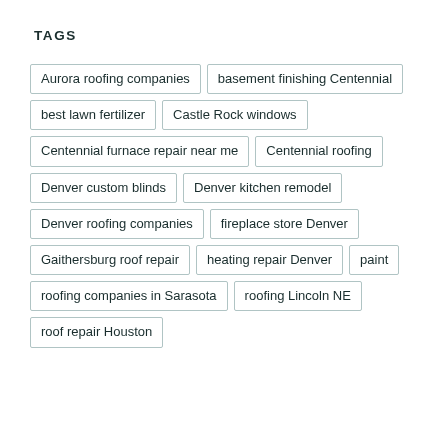TAGS
Aurora roofing companies
basement finishing Centennial
best lawn fertilizer
Castle Rock windows
Centennial furnace repair near me
Centennial roofing
Denver custom blinds
Denver kitchen remodel
Denver roofing companies
fireplace store Denver
Gaithersburg roof repair
heating repair Denver
paint
roofing companies in Sarasota
roofing Lincoln NE
roof repair Houston